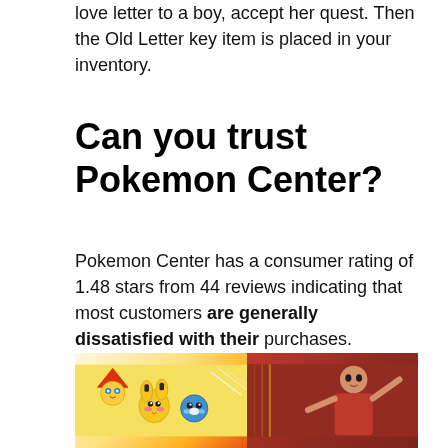love letter to a boy, accept her quest. Then the Old Letter key item is placed in your inventory.
Can you trust Pokemon Center?
Pokemon Center has a consumer rating of 1.48 stars from 44 reviews indicating that most customers are generally dissatisfied with their purchases. Consumers complaining about Pokemon Center most frequently mention customer service problems. Pokemon Center ranks 402nd among Games sites.
[Figure (photo): Photo showing Pokemon characters (Pikachu and others) on the left side and a person on the right side]